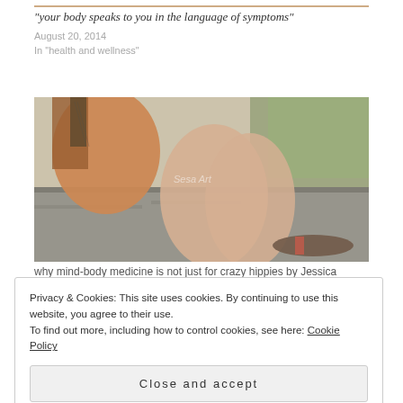[Figure (photo): Partial top edge of a photo (cropped) showing warm tones, a person visible]
"your body speaks to you in the language of symptoms"
August 20, 2014
In "health and wellness"
[Figure (photo): A person sitting on a stone wall playing guitar outdoors, with trees in the background. Watermark reads 'Sesa Art'.]
why mind-body medicine is not just for crazy hippies by Jessica
Privacy & Cookies: This site uses cookies. By continuing to use this website, you agree to their use.
To find out more, including how to control cookies, see here: Cookie Policy
Close and accept
[Figure (photo): Partial bottom edge of a photo showing blue tones]